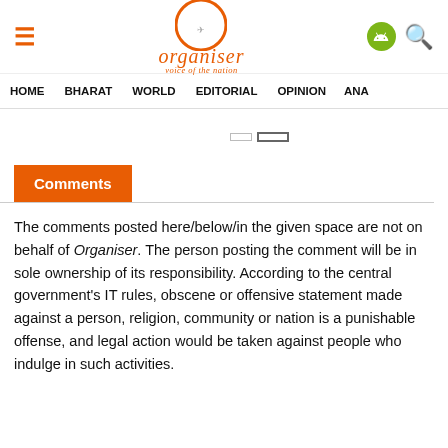[Figure (logo): Organiser logo with orange O circle, text 'organiser' and tagline 'voice of the nation' in orange]
HOME  BHARAT  WORLD  EDITORIAL  OPINION  ANA
Comments
The comments posted here/below/in the given space are not on behalf of Organiser. The person posting the comment will be in sole ownership of its responsibility. According to the central government's IT rules, obscene or offensive statement made against a person, religion, community or nation is a punishable offense, and legal action would be taken against people who indulge in such activities.